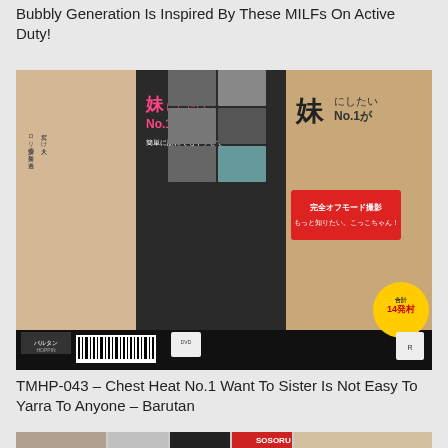Bubbly Generation Is Inspired By These MILFs On Active Duty!
[Figure (photo): Japanese adult DVD cover for TMHP-043 featuring Japanese text and product imagery]
TMHP-043 – Chest Heat No.1 Want To Sister Is Not Easy To Yarra To Anyone – Barutan
[Figure (photo): Partial view of another DVD cover at bottom of page]